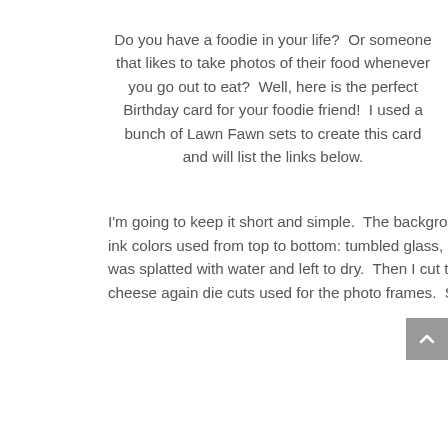Do you have a foodie in your life?  Or someone that likes to take photos of their food whenever you go out to eat?  Well, here is the perfect Birthday card for your foodie friend!  I used a bunch of Lawn Fawn sets to create this card and will list the links below.
I'm going to keep it short and simple.  The background colors were inspired by the really rainbow pattern paper.  Distress oxide ink colors used from top to bottom: tumbled glass, shaded lilac, worn lipstick, picked raspberry and barn door.  The background was splatted with water and left to dry.  Then I cut the background using large slimline dies and just stitching double circles.  Say cheese again die cuts used for the photo frames.  Sentiment before Scal: imited A/S and Affect S...